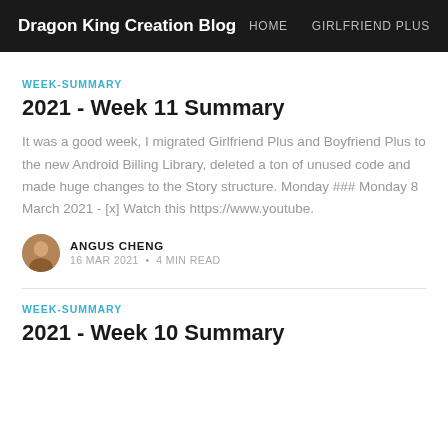Dragon King Creation Blog | HOME | GIRLFRIEND PLUS
WEEK-SUMMARY
2021 - Week 11 Summary
It was a good week, I migrated Girlfriend Plus and Boyfriend Plus to the new Android Billing Library, deleted a ton of unused code and made huge changes to the Story structure. Monday ### Monday 8 March 2021 - [x] Watch this https://www.youtube.
ANGUS CHENG
16 MAR 2021 • 4 MIN READ
WEEK-SUMMARY
2021 - Week 10 Summary